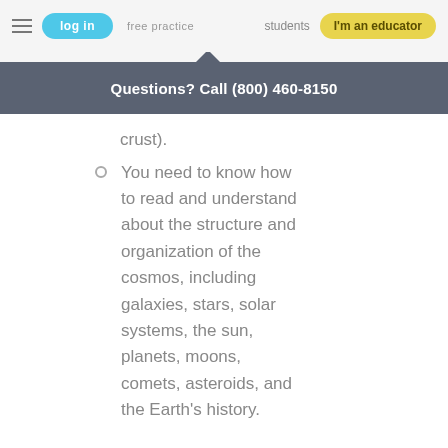log in   free practice   students   I'm an educator
Questions? Call (800) 460-8150
crust).
You need to know how to read and understand about the structure and organization of the cosmos, including galaxies, stars, solar systems, the sun, planets, moons, comets, asteroids, and the Earth's history.